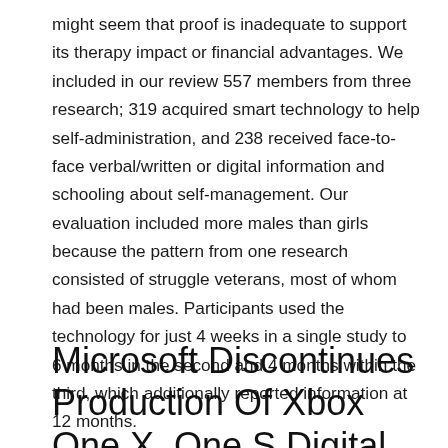might seem that proof is inadequate to support its therapy impact or financial advantages. We included in our review 557 members from three research; 319 acquired smart technology to help self-administration, and 238 received face-to-face verbal/written or digital information and schooling about self-management. Our evaluation included more males than girls because the pattern from one research consisted of struggle veterans, most of whom had been males. Participants used the technology for just 4 weeks in a single study to 6 months in the second and 4 months within the third, which additionally reported information at 12 months.
Microsoft Discontinues Production Of Xbox One X, One S Digital Editions